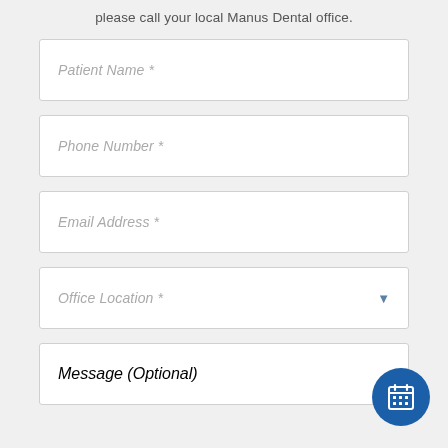please call your local Manus Dental office.
Patient Name *
Phone Number *
Email Address *
Office Location *
Message (Optional)